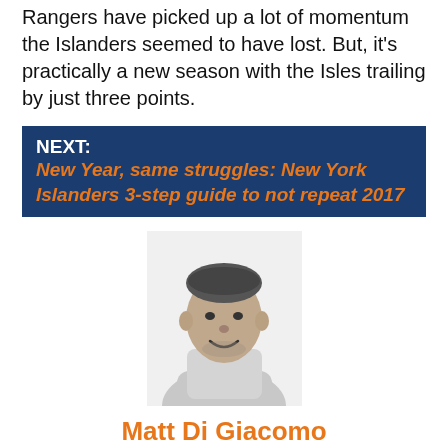Rangers have picked up a lot of momentum the Islanders seemed to have lost. But, it's practically a new season with the Isles trailing by just three points.
NEXT: New Year, same struggles: New York Islanders 3-step guide to not repeat 2017
[Figure (photo): Black and white headshot photo of Matt Di Giacomo, a young heavyset man smiling at the camera]
Matt Di Giacomo
https://www.facebook.com/app_scoped_user_id/10206812913022394/
Grew up a diehard Islanders and Mets fan based out of Northern New Jersey. Concluding my Broadcast Communications degree at William Paterson